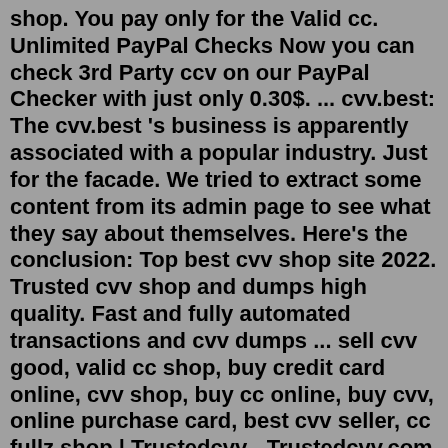shop. You pay only for the Valid cc. Unlimited PayPal Checks Now you can check 3rd Party ccv on our PayPal Checker with just only 0.30$. ... cvv.best: The cvv.best 's business is apparently associated with a popular industry. Just for the facade. We tried to extract some content from its admin page to see what they say about themselves. Here's the conclusion: Top best cvv shop site 2022. Trusted cvv shop and dumps high quality. Fast and fully automated transactions and cvv dumps ... sell cvv good, valid cc shop, buy credit card online, cvv shop, buy cc online, buy cvv, online purchase card, best cvv seller, cc fullz shop | Trustedcvv - Trustedcvv.com traffic statistics ... Creation Date: 2020-12-06T07:34:51Z Registry Expiry Date: 2022-12-06T07:34:51Z Registrar: REGISTRAR OF DOMAIN NAMES REG.RU LLC Registrar IANA ID: 1606Jun 14, 2022 · Trusted cvv shop 2022 - June 14, 2022 | June 15, 2022 - GenesisMarketinvite. Trusted cvv shop 2022. yo guys whats up have got some good cvv with good balance guys.. trusted cvv shop 2021,cc sites,cvv shop,best cvv